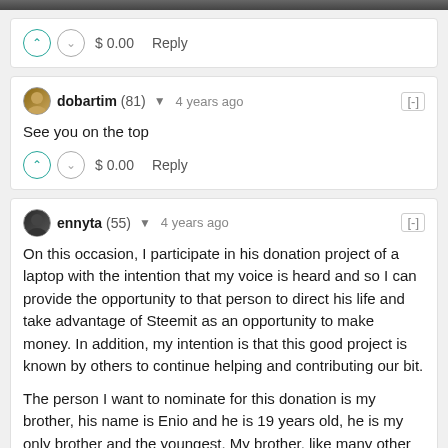[Figure (photo): Partial cropped photo at top of page, showing a dark image bar]
$ 0.00   Reply
dobartim (81) ▾  4 years ago  [-]
See you on the top
$ 0.00   Reply
ennyta (55) ▾  4 years ago  [-]
On this occasion, I participate in his donation project of a laptop with the intention that my voice is heard and so I can provide the opportunity to that person to direct his life and take advantage of Steemit as an opportunity to make money. In addition, my intention is that this good project is known by others to continue helping and contributing our bit.
The person I want to nominate for this donation is my brother, his name is Enio and he is 19 years old, he is my only brother and the youngest. My brother, like many other young people in my country (We're from Venezuela by the way), has in mind the idea of leaving his country in search of opportunities elsewhere to get money. But the truth is that imagining my brother leaving our home breaks our hearts to both my parents and me. I would like him to see Steemit as an opportunity to make money, as a business, as I have been learning in SteemSchool and put into practice his